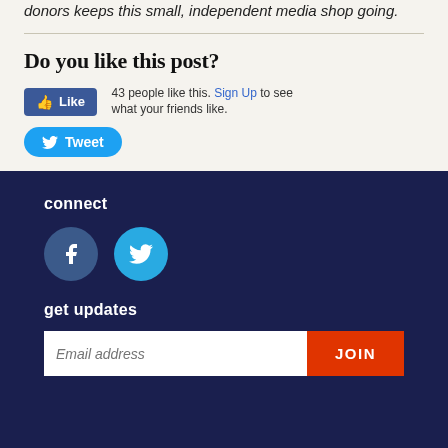donors keeps this small, independent media shop going.
Do you like this post?
43 people like this. Sign Up to see what your friends like.
Tweet
connect
[Figure (other): Facebook and Twitter social media icon circles]
get updates
Email address JOIN